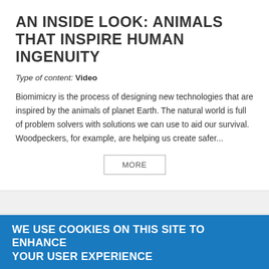AN INSIDE LOOK: ANIMALS THAT INSPIRE HUMAN INGENUITY
Type of content: Video
Biomimicry is the process of designing new technologies that are inspired by the animals of planet Earth. The natural world is full of problem solvers with solutions we can use to aid our survival. Woodpeckers, for example, are helping us create safer...
MORE
WE USE COOKIES ON THIS SITE TO ENHANCE YOUR USER EXPERIENCE